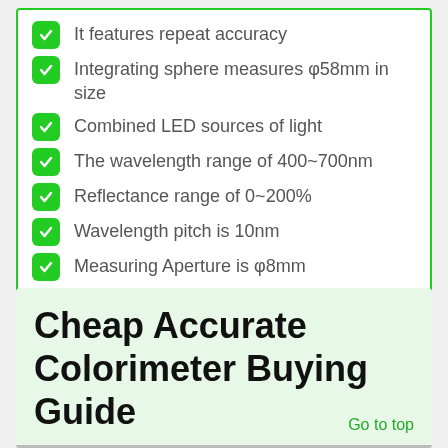It features repeat accuracy
Integrating sphere measures φ58mm in size
Combined LED sources of light
The wavelength range of 400~700nm
Reflectance range of 0~200%
Wavelength pitch is 10nm
Measuring Aperture is φ8mm
Cheap Accurate Colorimeter Buying Guide